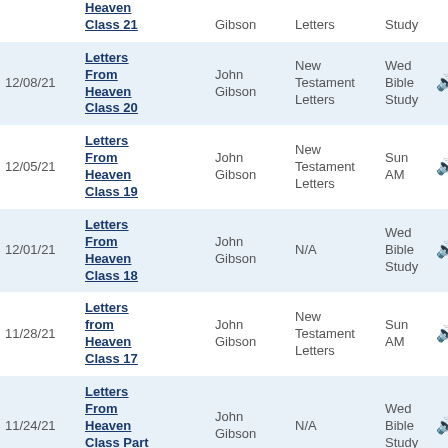| Date | Title | Speaker | Series | Service |  |
| --- | --- | --- | --- | --- | --- |
|  | Letters From Heaven Class 21 | Gibson | Letters | Study | 🔊 |
| 12/08/21 | Letters From Heaven Class 20 | John Gibson | New Testament Letters | Wed Bible Study | 🔊 |
| 12/05/21 | Letters From Heaven Class 19 | John Gibson | New Testament Letters | Sun AM | 🔊 |
| 12/01/21 | Letters From Heaven Class 18 | John Gibson | N/A | Wed Bible Study | 🔊 |
| 11/28/21 | Letters from Heaven Class 17 | John Gibson | New Testament Letters | Sun AM | 🔊 |
| 11/24/21 | Letters From Heaven Class Part 16 | John Gibson | N/A | Wed Bible Study | 🔊 |